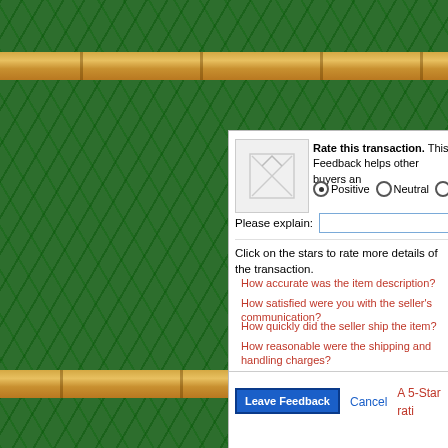[Figure (screenshot): eBay leave feedback form with green bamboo/fern background. Dialog shows rating options (Positive selected, Neutral, Negative, I will leave Feed...), a Please explain text field, star rating questions, Leave Feedback button, Cancel link, and A 5-Star rati... text.]
Rate this transaction. This Feedback helps other buyers an
Positive  Neutral  Negative  I will leave Feed
Please explain:
Click on the stars to rate more details of the transaction.
How accurate was the item description?
How satisfied were you with the seller's communication?
How quickly did the seller ship the item?
How reasonable were the shipping and handling charges?
Leave Feedback
Cancel
A 5-Star rati